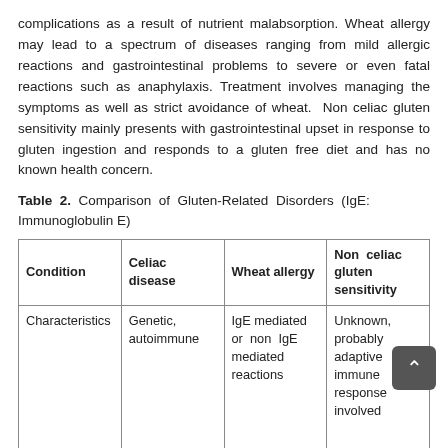complications as a result of nutrient malabsorption. Wheat allergy may lead to a spectrum of diseases ranging from mild allergic reactions and gastrointestinal problems to severe or even fatal reactions such as anaphylaxis. Treatment involves managing the symptoms as well as strict avoidance of wheat. Non celiac gluten sensitivity mainly presents with gastrointestinal upset in response to gluten ingestion and responds to a gluten free diet and has no known health concern.
Table 2. Comparison of Gluten-Related Disorders (IgE: Immunoglobulin E)
| Condition | Celiac disease | Wheat allergy | Non celiac gluten sensitivity |
| --- | --- | --- | --- |
| Characteristics | Genetic, autoimmune | IgE mediated or non IgE mediated reactions | Unknown, probably adaptive immune response involved |